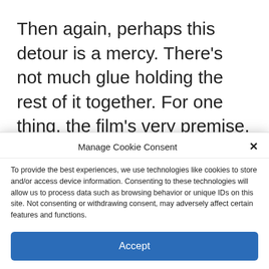Then again, perhaps this detour is a mercy. There's not much glue holding the rest of it together. For one thing, the film's very premise, involving characters with super-speed, seems to disappear from everyone's memory for most of the running time (something the last movie was guilty of as well). Scene after scene, Sonic simply ceases
Manage Cookie Consent
To provide the best experiences, we use technologies like cookies to store and/or access device information. Consenting to these technologies will allow us to process data such as browsing behavior or unique IDs on this site. Not consenting or withdrawing consent, may adversely affect certain features and functions.
Accept